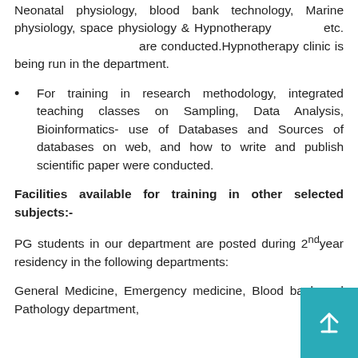Neonatal physiology, blood bank technology, Marine physiology, space physiology & Hypnotherapy etc. are conducted.Hypnotherapy clinic is being run in the department.
For training in research methodology, integrated teaching classes on Sampling, Data Analysis, Bioinformatics- use of Databases and Sources of databases on web, and how to write and publish scientific paper were conducted.
Facilities available for training in other selected subjects:-
PG students in our department are posted during 2nd year residency in the following departments:
General Medicine, Emergency medicine, Blood bank and Pathology department,